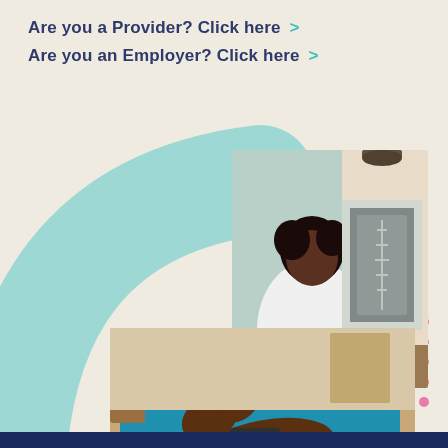Are you a Provider? Click here >
Are you an Employer? Click here >
[Figure (photo): A person wearing a white coat looking at an X-ray scan, seated at a desk with a laptop]
[Figure (photo): A person lying on a blue yoga mat doing a stretching exercise in a home setting]